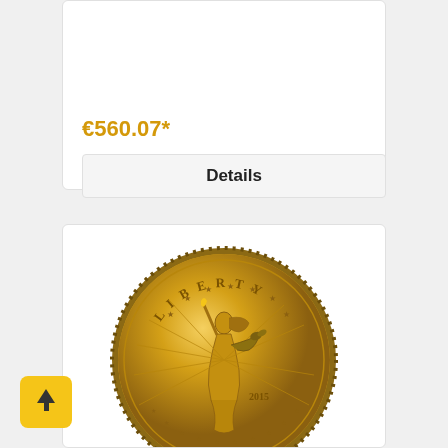€560.07*
Details
[Figure (photo): American Gold Eagle coin (2015) showing Lady Liberty on the obverse, with 'LIBERTY' inscribed at the top and rays of light behind the figure.]